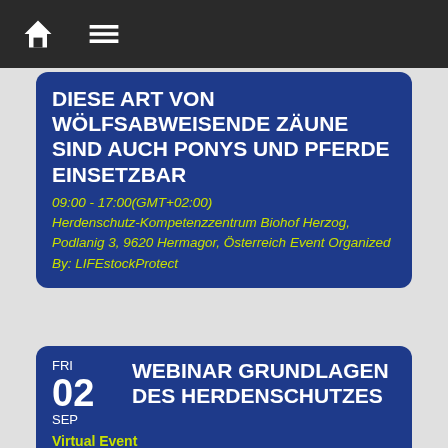home menu icons
DIESE ART VON WÖLFSABWEISENDE ZÄUNE SIND AUCH PONYS UND PFERDE EINSETZBAR
09:00 - 17:00(GMT+02:00)
Herdenschutz-Kompetenzzentrum Biohof Herzog, Podlanig 3, 9620 Hermagor, Österreich Event Organized By: LIFEstockProtect
FRI 02 SEP
WEBINAR GRUNDLAGEN DES HERDENSCHUTZES
Virtual Event
20:00 - 21:45(GMT+02:00)
Event Organized By: LIFEstockProtect
SAT 03 SEP
GUT BEHÜTET: WANDERUNG ZU DEN HERDENSCHUTZHUNDEN